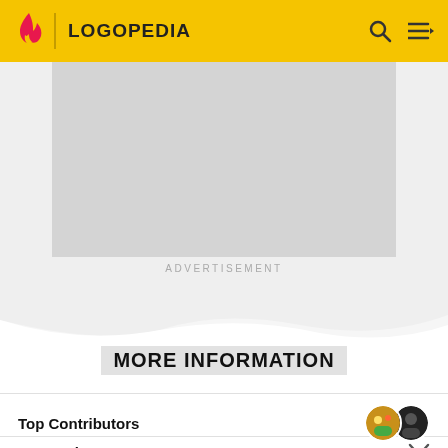LOGOPEDIA
[Figure (screenshot): Grey advertisement placeholder box]
ADVERTISEMENT
MORE INFORMATION
Top Contributors
Categories
Community content is available under CC-BY-SA unless otherwise noted.